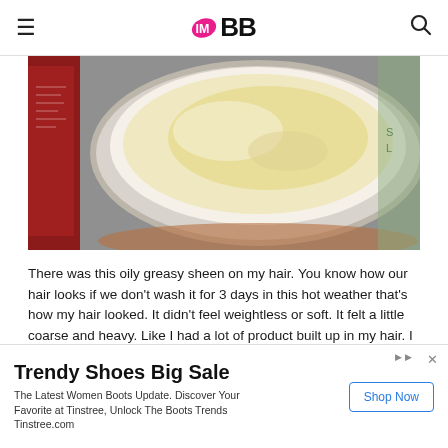IMBB (logo navigation bar)
[Figure (photo): Top-down view of an open white plastic jar of cream/hair product, with a yellowish-white creamy product visible inside. A red product is partially visible on the left side. Background is grey.]
There was this oily greasy sheen on my hair. You know how our hair looks if we don't wash it for 3 days in this hot weather that's how my hair looked. It didn't feel weightless or soft. It felt a little coarse and heavy. Like I had a lot of product built up in my hair. I felt like if I my pull my hair even lightly all the hair on my head would fall out. My hair felt and looked very weak. It was horrible:
[Figure (other): Advertisement banner: Trendy Shoes Big Sale - The Latest Women Boots Update. Discover Your Favorite at Tinstree, Unlock The Boots Trends Tinstree.com. Shop Now button.]